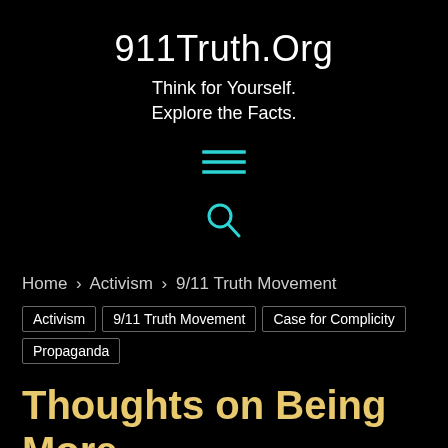911Truth.Org
Think for Yourself. Explore the Facts.
[Figure (other): Hamburger menu icon (three horizontal teal lines)]
[Figure (other): Search magnifying glass icon in teal]
Home › Activism › 9/11 Truth Movement
Activism | 9/11 Truth Movement | Case for Complicity | Propaganda
Thoughts on Being More Effective
By Staff - March 8, 2005   👁 244